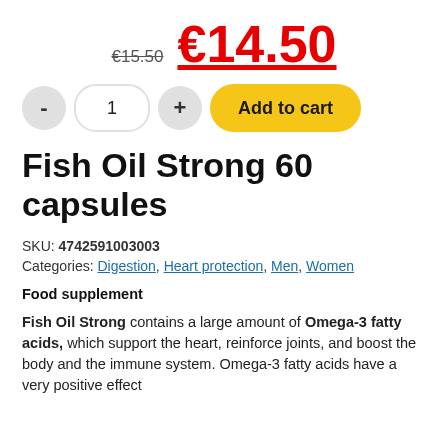€15.50  €14.50
[Figure (other): Add to cart widget with minus button, quantity field showing 1, plus button, and yellow Add to cart button]
Fish Oil Strong 60 capsules
SKU: 4742591003003
Categories: Digestion, Heart protection, Men, Women
Food supplement
Fish Oil Strong contains a large amount of Omega-3 fatty acids, which support the heart, reinforce joints, and boost the body and the immune system. Omega-3 fatty acids have a very positive effect